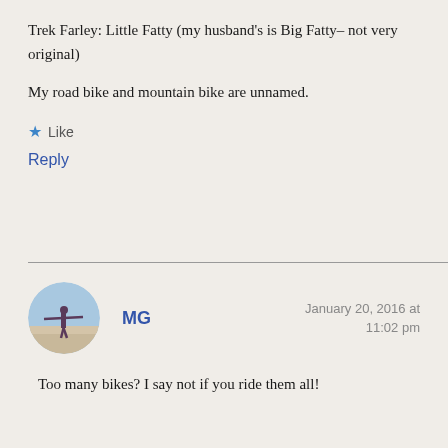Trek Farley: Little Fatty (my husband's is Big Fatty– not very original)
My road bike and mountain bike are unnamed.
★ Like
Reply
[Figure (photo): Circular avatar photo of a person standing with arms outstretched on a flat outdoor landscape with a light blue sky]
MG
January 20, 2016 at 11:02 pm
Too many bikes? I say not if you ride them all!